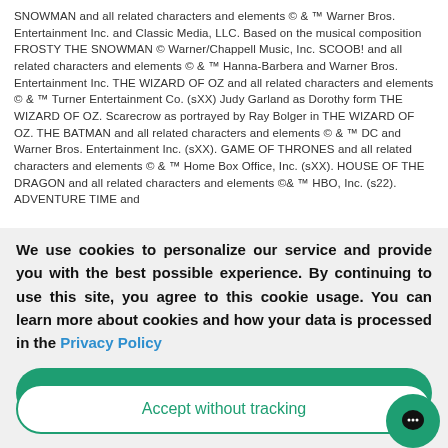SNOWMAN and all related characters and elements © & ™ Warner Bros. Entertainment Inc. and Classic Media, LLC. Based on the musical composition FROSTY THE SNOWMAN © Warner/Chappell Music, Inc. SCOOB! and all related characters and elements © & ™ Hanna-Barbera and Warner Bros. Entertainment Inc. THE WIZARD OF OZ and all related characters and elements © & ™ Turner Entertainment Co. (sXX) Judy Garland as Dorothy form THE WIZARD OF OZ. Scarecrow as portrayed by Ray Bolger in THE WIZARD OF OZ. THE BATMAN and all related characters and elements © & ™ DC and Warner Bros. Entertainment Inc. (sXX). GAME OF THRONES and all related characters and elements © & ™ Home Box Office, Inc. (sXX). HOUSE OF THE DRAGON and all related characters and elements ©& ™ HBO, Inc. (s22). ADVENTURE TIME and
We use cookies to personalize our service and provide you with the best possible experience. By continuing to use this site, you agree to this cookie usage. You can learn more about cookies and how your data is processed in the Privacy Policy